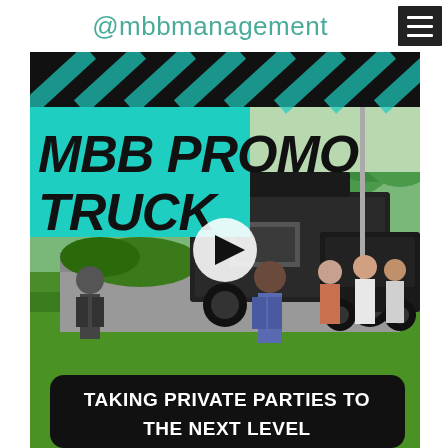@mbbmanagement
[Figure (screenshot): Video thumbnail screenshot showing MBB Promo Truck at an outdoor event. Bold black italic text on teal/cyan background reads 'MBB PROMO TRUCK' at top left. A play button icon is centered. At the bottom a black rounded-rectangle banner reads 'TAKING PRIVATE PARTIES TO THE NEXT LEVEL' in bold white text. Background photo shows a black food truck and a black van with people standing on a green lawn with trees.]